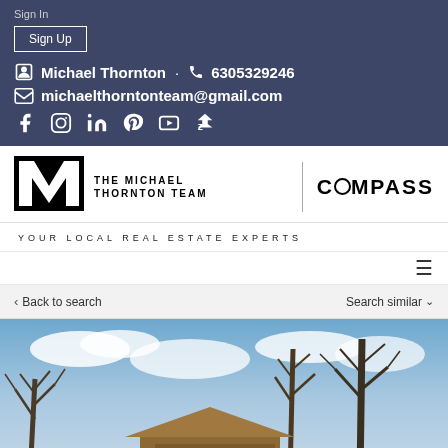Sign In
Sign Up
Michael Thornton · 6305329246
michaelthorntonteam@gmail.com
[Figure (logo): Social media icons: Facebook, Instagram, LinkedIn, Pinterest, YouTube, Zillow]
[Figure (logo): The Michael Thornton Team logo with MT initials and Compass branding]
YOUR LOCAL REAL ESTATE EXPERTS
Back to search
Search similar
[Figure (photo): Exterior photo of a house with bare winter trees against a blue cloudy sky]